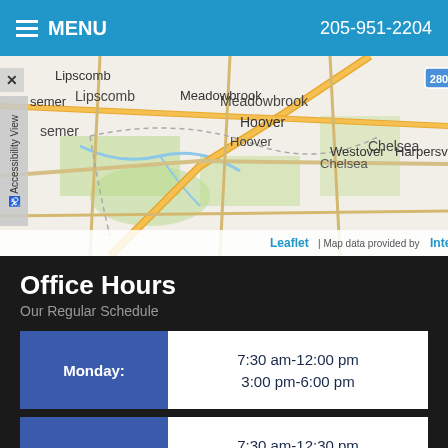MENU  205-951-2204
[Figure (map): Interactive street map showing Hoover, Lipscomb, Meadowbrook, Chelsea, Westover, Harpersville area with highway 280 marked. Leaflet map with credit: Leaflet | Map data provided by Internet Brands]
Office Hours
Our Regular Schedule
| Day | Hours |
| --- | --- |
| Monday: | 7:30 am-12:00 pm
3:00 pm-6:00 pm |
| Tuesday: | 7:30 am-12:30 pm
By Appointment |